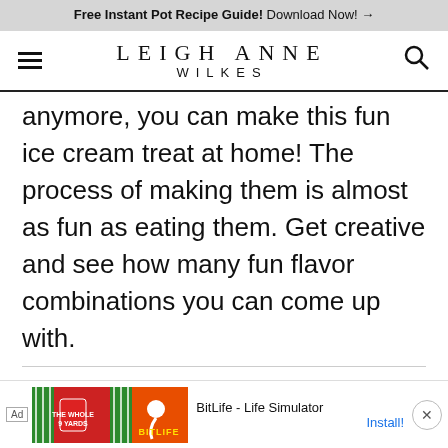Free Instant Pot Recipe Guide! Download Now! →
LEIGH ANNE WILKES
anymore, you can make this fun ice cream treat at home! The process of making them is almost as fun as eating them. Get creative and see how many fun flavor combinations you can come up with.
MY LATEST VIDEOS
[Figure (screenshot): Black video player rectangle]
[Figure (screenshot): Advertisement banner: Ad badge, The Whole 9 Yards game image, BitLife orange logo image, BitLife - Life Simulator text, Install! button, close X button]